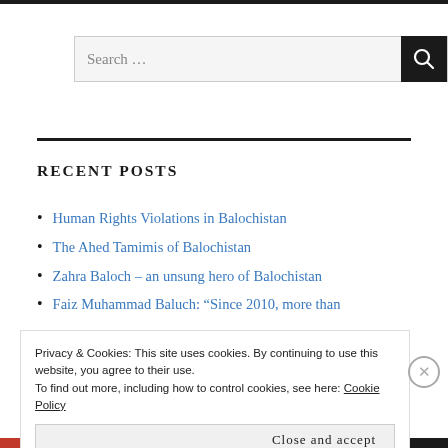[Figure (other): Search bar with text input and black search button with magnifying glass icon]
RECENT POSTS
Human Rights Violations in Balochistan
The Ahed Tamimis of Balochistan
Zahra Baloch – an unsung hero of Balochistan
Faiz Muhammad Baluch: “Since 2010, more than
Privacy & Cookies: This site uses cookies. By continuing to use this website, you agree to their use.
To find out more, including how to control cookies, see here: Cookie Policy
Close and accept